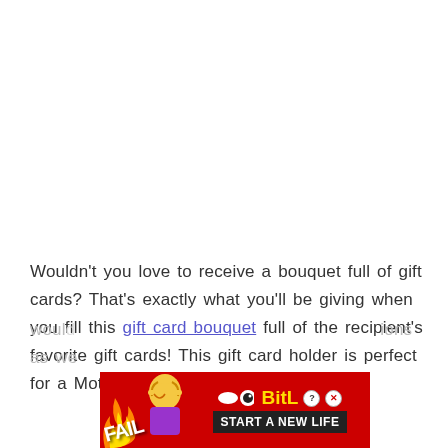Wouldn't you love to receive a bouquet full of gift cards? That's exactly what you'll be giving when you fill this gift card bouquet full of the recipient's favorite gift cards! This gift card holder is perfect for a Mother's Day gift. But would... occasions as we...
[Figure (illustration): Advertisement banner for BitLife mobile game. Red background with cartoon flame illustration, a blonde cartoon character covering her face, the word FAIL in white bold text, a worm/snake icon, the BitLife logo in yellow, question mark and X close icons, and a black button reading START A NEW LIFE.]